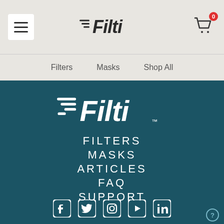Filti – Header with hamburger menu, logo, and cart (0 items)
[Figure (logo): Filti brand logo in header – dark text on light background]
Filters
Masks
Shop All
[Figure (logo): Filti brand logo – white version on dark teal background]
FILTERS
MASKS
ARTICLES
FAQ
SUPPORT
[Figure (infographic): Social media icons row: Facebook, Twitter, Instagram, YouTube, LinkedIn]